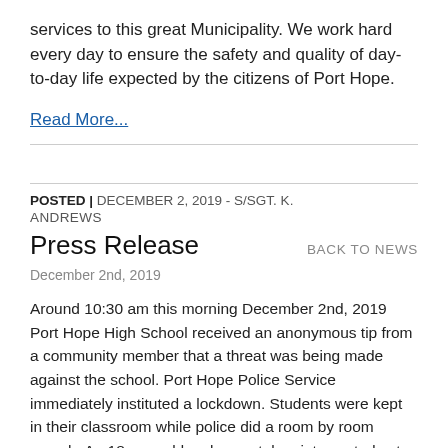services to this great Municipality. We work hard every day to ensure the safety and quality of day-to-day life expected by the citizens of Port Hope.
Read More...
POSTED | DECEMBER 2, 2019 - S/SGT. K. ANDREWS
Press Release
BACK TO NEWS
December 2nd, 2019
Around 10:30 am this morning December 2nd, 2019 Port Hope High School received an anonymous tip from a community member that a threat was being made against the school. Port Hope Police Service immediately instituted a lockdown. Students were kept in their classroom while police did a room by room search. An 18 year old male was taken into custody at his residence and was released